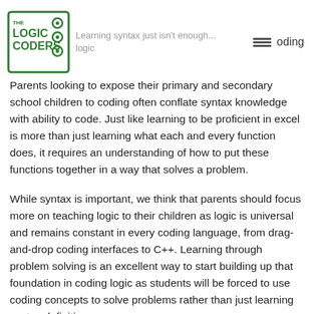Learning syntax just isn't enough... coding logic
Parents looking to expose their primary and secondary school children to coding often conflate syntax knowledge with ability to code. Just like learning to be proficient in excel is more than just learning what each and every function does, it requires an understanding of how to put these functions together in a way that solves a problem.
While syntax is important, we think that parents should focus more on teaching logic to their children as logic is universal and remains constant in every coding language, from drag-and-drop coding interfaces to C++. Learning through problem solving is an excellent way to start building up that foundation in coding logic as students will be forced to use coding concepts to solve problems rather than just learning syntax definitions.
Developing a true appreciation and